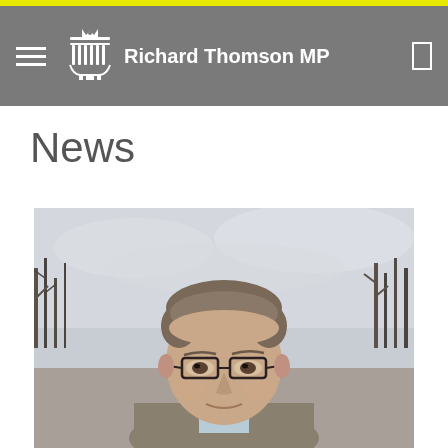Richard Thomson MP
News
[Figure (photo): Portrait photograph of Richard Thomson MP, a middle-aged man with short brown hair wearing glasses, a blue checked shirt and grey/brown jacket, photographed outdoors with bare winter trees and cloudy sky in the background.]